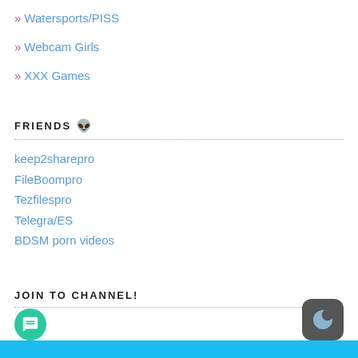» Watersports/PISS
» Webcam Girls
» XXX Games
FRIENDS 👽
keep2sharepro
FileBoompro
Tezfilespro
Telegra/ES
BDSM porn videos
JOIN TO CHANNEL!